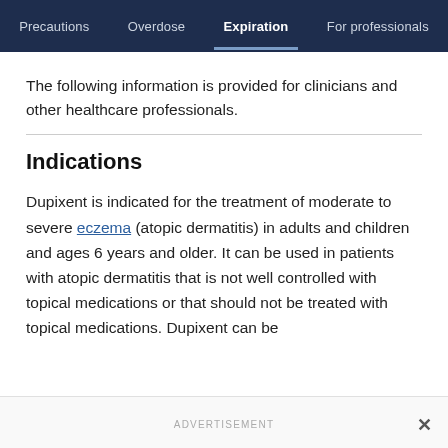Precautions | Overdose | Expiration | For professionals
The following information is provided for clinicians and other healthcare professionals.
Indications
Dupixent is indicated for the treatment of moderate to severe eczema (atopic dermatitis) in adults and children and ages 6 years and older. It can be used in patients with atopic dermatitis that is not well controlled with topical medications or that should not be treated with topical medications. Dupixent can be
ADVERTISEMENT